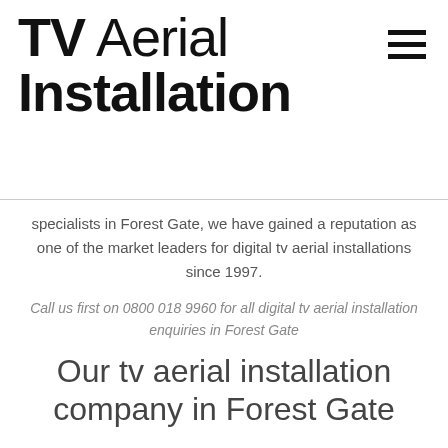TV Aerial Installation
specialists in Forest Gate, we have gained a reputation as one of the market leaders for digital tv aerial installations since 1997.
Call us first on 0800 018 9960 for all digital tv aerial installation enquiries in Forest Gate
Our tv aerial installation company in Forest Gate
Tv aerial installations ltd is a independently run company we are small local friendly business that values customer's satisfaction. our installers are certified to perform digital aerial installations and our